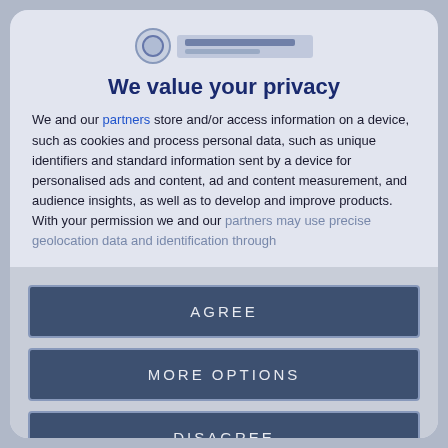[Figure (logo): Website logo with circular globe icon and blurred site name text]
We value your privacy
We and our partners store and/or access information on a device, such as cookies and process personal data, such as unique identifiers and standard information sent by a device for personalised ads and content, ad and content measurement, and audience insights, as well as to develop and improve products. With your permission we and our partners may use precise geolocation data and identification through
AGREE
MORE OPTIONS
DISAGREE